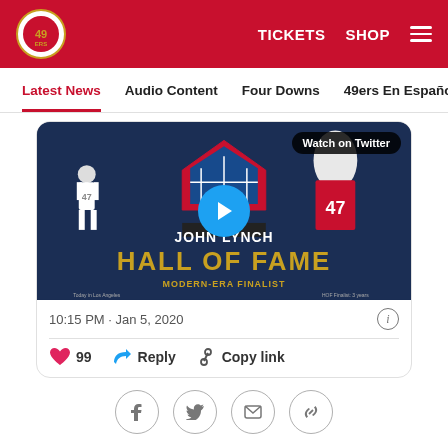49ers website header with logo, TICKETS, SHOP, and menu
Latest News | Audio Content | Four Downs | 49ers En Español | Ga
[Figure (screenshot): Embedded tweet with John Lynch Hall of Fame Modern-Era Finalist video thumbnail, Watch on Twitter badge, play button, date 10:15 PM · Jan 5, 2020, 99 likes, Reply, Copy link actions, and social share buttons]
10:15 PM · Jan 5, 2020
99  Reply  Copy link